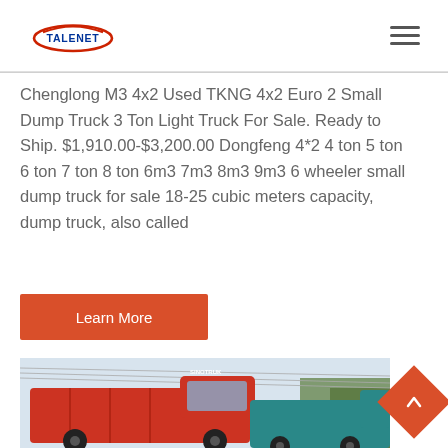TALENET
Chenglong M3 4x2 Used TKNG 4x2 Euro 2 Small Dump Truck 3 Ton Light Truck For Sale. Ready to Ship. $1,910.00-$3,200.00 Dongfeng 4*2 4 ton 5 ton 6 ton 7 ton 8 ton 6m3 7m3 8m3 9m3 6 wheeler small dump truck for sale 18-25 cubic meters capacity, dump truck, also called
Learn More
[Figure (photo): Red and teal/cyan dump trucks parked together, with trees visible in the background]